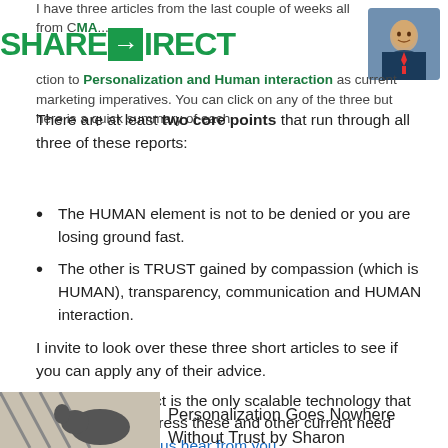I have three articles from the last couple of weeks all from CMA...ction to Personalization and Human interaction as current marketing imperatives. You can click on any of the three but here is a quick summary of each.
[Figure (photo): Headshot of a man in a suit, against a blurred background]
There are at least two core points that run through all three of these reports:
The HUMAN element is not to be denied or you are losing ground fast.
The other is TRUST gained by compassion (which is HUMAN), transparency, communication and HUMAN interaction.
I invite to look over these three short articles to see if you can apply any of their advice.
Again, ShareDirect is the only scalable technology that can truly help address these and other current need unmet needs. Let us hear from you.
Personalization Goes Nowhere Without Trust by Sharon